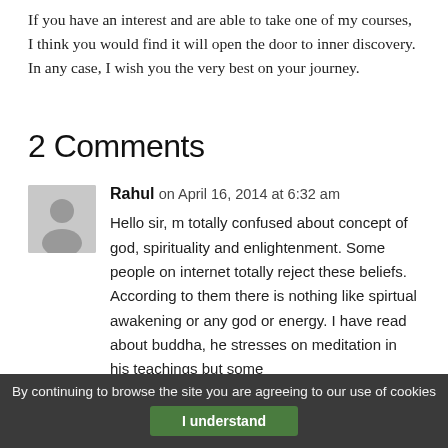If you have an interest and are able to take one of my courses, I think you would find it will open the door to inner discovery. In any case, I wish you the very best on your journey.
2 Comments
Rahul on April 16, 2014 at 6:32 am
Hello sir, m totally confused about concept of god, spirituality and enlightenment. Some people on internet totally reject these beliefs. According to them there is nothing like spirtual awakening or any god or energy. I have read about buddha, he stresses on meditation in his teachings but some
By continuing to browse the site you are agreeing to our use of cookies
I understand